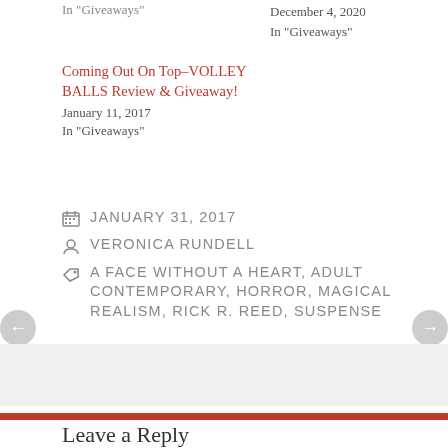In "Giveaways"
December 4, 2020
In "Giveaways"
Coming Out On Top–VOLLEY BALLS Review & Giveaway!
January 11, 2017
In "Giveaways"
JANUARY 31, 2017
VERONICA RUNDELL
A FACE WITHOUT A HEART, ADULT CONTEMPORARY, HORROR, MAGICAL REALISM, RICK R. REED, SUSPENSE
Leave a Reply